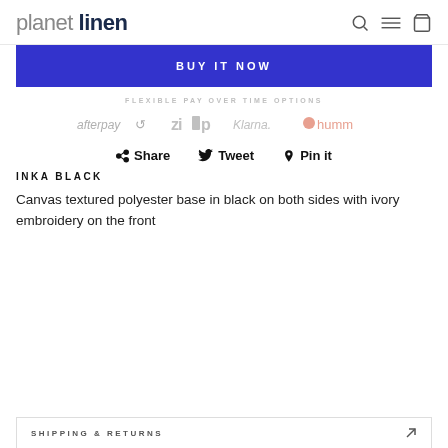planet linen
BUY IT NOW
FLEXIBLE PAY OVER TIME OPTIONS
[Figure (logo): Payment provider logos: afterpay, zip, Klarna, humm]
Share   Tweet   Pin it
INKA BLACK
Canvas textured polyester base in black on both sides with ivory embroidery on the front
SHIPPING & RETURNS